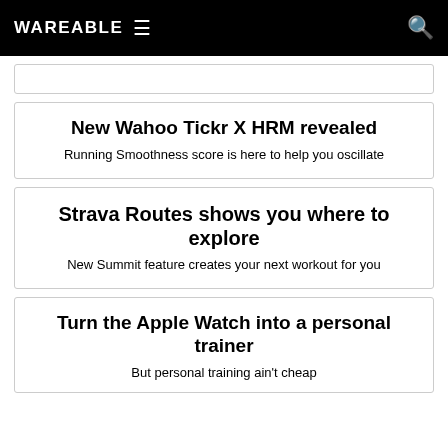WAREABLE
New Wahoo Tickr X HRM revealed
Running Smoothness score is here to help you oscillate
Strava Routes shows you where to explore
New Summit feature creates your next workout for you
Turn the Apple Watch into a personal trainer
But personal training ain't cheap